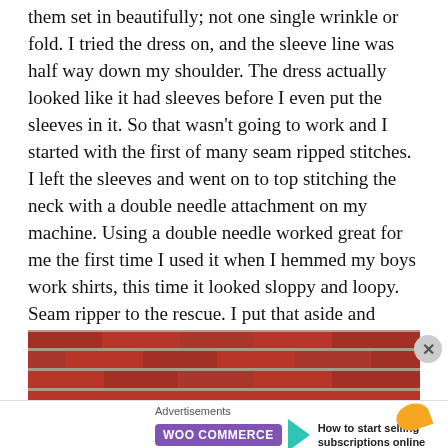them set in beautifully; not one single wrinkle or fold. I tried the dress on, and the sleeve line was half way down my shoulder. The dress actually looked like it had sleeves before I even put the sleeves in it. So that wasn't going to work and I started with the first of many seam ripped stitches. I left the sleeves and went on to top stitching the neck with a double needle attachment on my machine. Using a double needle worked great for me the first time I used it when I hemmed my boys work shirts, this time it looked sloppy and loopy. Seam ripper to the rescue. I put that aside and attached the skirt. Perfect! Now, it was back to what I had put off, the sleeves and the top-stitching.
[Figure (photo): Photo of a red brick wall with horizontal mortar lines]
Advertisements
[Figure (logo): WooCommerce advertisement banner with teal arrow and text 'How to start selling subscriptions online', orange decorative element]